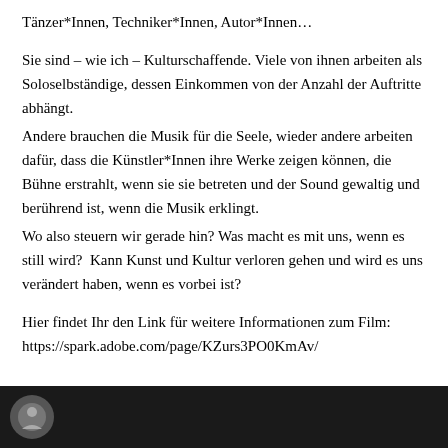Tänzer*Innen, Techniker*Innen, Autor*Innen…
Sie sind – wie ich – Kulturschaffende. Viele von ihnen arbeiten als Soloselbständige, dessen Einkommen von der Anzahl der Auftritte abhängt.
Andere brauchen die Musik für die Seele, wieder andere arbeiten dafür, dass die Künstler*Innen ihre Werke zeigen können, die Bühne erstrahlt, wenn sie sie betreten und der Sound gewaltig und berührend ist, wenn die Musik erklingt.
Wo also steuern wir gerade hin? Was macht es mit uns, wenn es still wird?  Kann Kunst und Kultur verloren gehen und wird es uns verändert haben, wenn es vorbei ist?
Hier findet Ihr den Link für weitere Informationen zum Film: https://spark.adobe.com/page/KZurs3PO0KmAv/
[Figure (photo): Dark/black video thumbnail with a circular avatar icon on the left side]